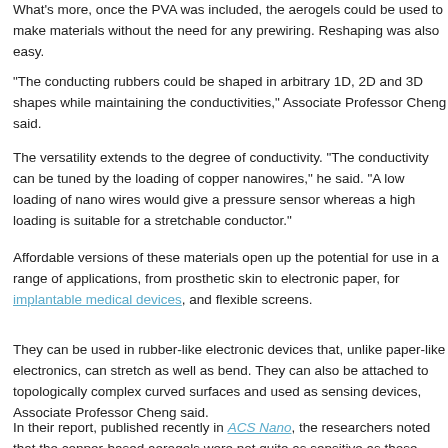What's more, once the PVA was included, the aerogels could be used to make materials without the need for any prewiring. Reshaping was also easy.
“The conducting rubbers could be shaped in arbitrary 1D, 2D and 3D shapes while maintaining the conductivities,” Associate Professor Cheng said.
The versatility extends to the degree of conductivity. “The conductivity can be tuned by the loading of copper nanowires,” he said. “A low loading of nano wires would give a pressure sensor whereas a high loading is suitable for a stretchable conductor.”
Affordable versions of these materials open up the potential for use in a range of applications, from prosthetic skin to electronic paper, for implantable medical devices, and flexible screens.
They can be used in rubber-like electronic devices that, unlike paper-like electronics, can stretch as well as bend. They can also be attached to topologically complex curved surfaces and used as sensing devices, Associate Professor Cheng said.
In their report, published recently in ACS Nano, the researchers noted that the copper-based aerogels were not quite as sensitive as those using gold nanowires, but ha…